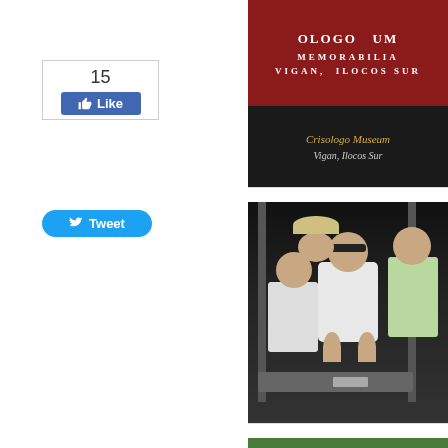[Figure (other): Like box widget showing count of 15 with a blue Like button]
[Figure (other): Tweet button in blue rounded style]
[Figure (photo): Photo of the Crisologo Museum sign in Vigan, Ilocos Sur - red sign with white text, with caption 'Crisologo Museum / Vigan, Ilocos Sur' on dark background]
[Figure (photo): Group photo of several young people smiling and giving thumbs up, appearing to be at a museum entrance with metal gate]